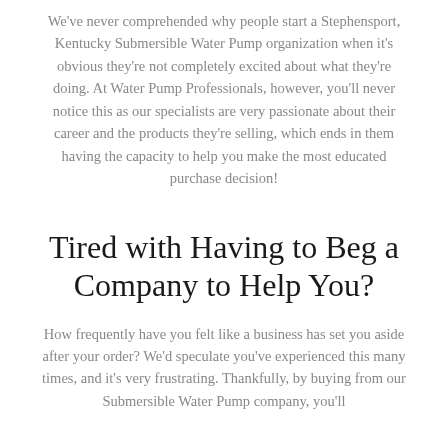We've never comprehended why people start a Stephensport, Kentucky Submersible Water Pump organization when it's obvious they're not completely excited about what they're doing. At Water Pump Professionals, however, you'll never notice this as our specialists are very passionate about their career and the products they're selling, which ends in them having the capacity to help you make the most educated purchase decision!
Tired with Having to Beg a Company to Help You?
How frequently have you felt like a business has set you aside after your order? We'd speculate you've experienced this many times, and it's very frustrating. Thankfully, by buying from our Submersible Water Pump company, you'll